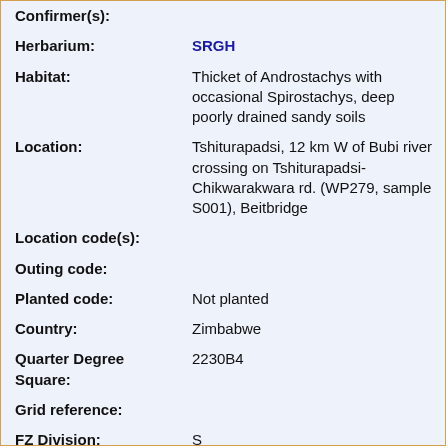| Field | Value |
| --- | --- |
| Confirmer(s): |  |
| Herbarium: | SRGH |
| Habitat: | Thicket of Androstachys with occasional Spirostachys, deep poorly drained sandy soils |
| Location: | Tshiturapadsi, 12 km W of Bubi river crossing on Tshiturapadsi-Chikwarakwara rd. (WP279, sample S001), Beitbridge |
| Location code(s): |  |
| Outing code: |  |
| Planted code: | Not planted |
| Country: | Zimbabwe |
| Quarter Degree Square: | 2230B4 |
| Grid reference: |  |
| FZ Division: | S |